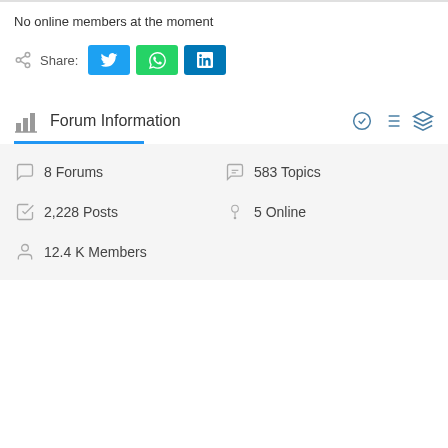No online members at the moment
Share:
Forum Information
8 Forums
583 Topics
2,228 Posts
5 Online
12.4 K Members